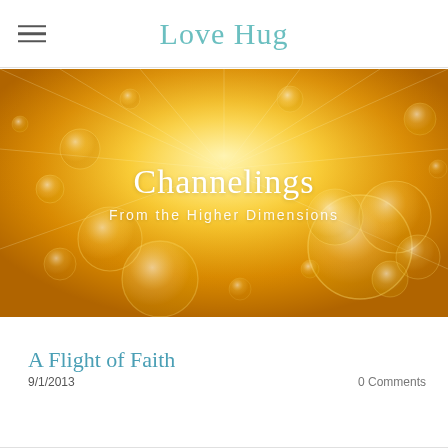Love Hug
[Figure (illustration): Golden/amber colored background with light rays emanating from center and transparent bubble/droplet spheres scattered throughout. Overlaid text reads 'Channelings' and 'From the Higher Dimensions'.]
A Flight of Faith
9/1/2013
0 Comments